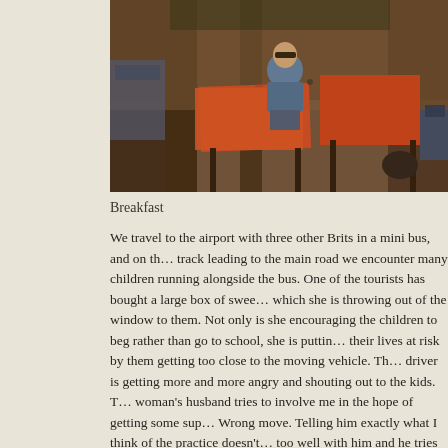[Figure (photo): A man in a blue shirt and sunglasses sits at a table with orange/red tablecloth in an open-air restaurant or dining area. Multiple tables with orange-red coverings are visible, along with chairs and structural columns. The setting appears to be an outdoor lodge or safari camp restaurant.]
Breakfast
We travel to the airport with three other Brits in a mini bus, and on the track leading to the main road we encounter many children running alongside the bus. One of the tourists has bought a large box of sweets which she is throwing out of the window to them. Not only is she encouraging the children to beg rather than go to school, she is putting their lives at risk by them getting too close to the moving vehicle. The driver is getting more and more angry and shouting out to the kids. The woman's husband tries to involve me in the hope of getting some support. Wrong move. Telling him exactly what I think of the practice doesn't go too well with him and he tries to justify it by telling me he doesn't approve of people “flashing at dinner” (referring to me taking pictures of us and our food). I shrug and reply “fair enough”, letting the conversation die right there.